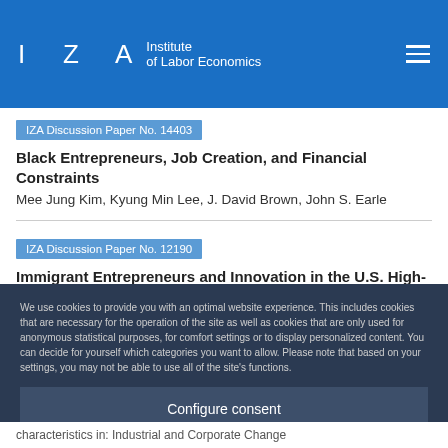IZA Institute of Labor Economics
IZA Discussion Paper No. 14403
Black Entrepreneurs, Job Creation, and Financial Constraints
Mee Jung Kim, Kyung Min Lee, J. David Brown, John S. Earle
IZA Discussion Paper No. 12190
Immigrant Entrepreneurs and Innovation in the U.S. High-Tech Sector
J. David Brown, John S. Earle, Mee Jung Kim, Kyung Min Lee
We use cookies to provide you with an optimal website experience. This includes cookies that are necessary for the operation of the site as well as cookies that are only used for anonymous statistical purposes, for comfort settings or to display personalized content. You can decide for yourself which categories you want to allow. Please note that based on your settings, you may not be able to use all of the site's functions.
Configure consent
Accept all
characteristics in: Industrial and Corporate Change